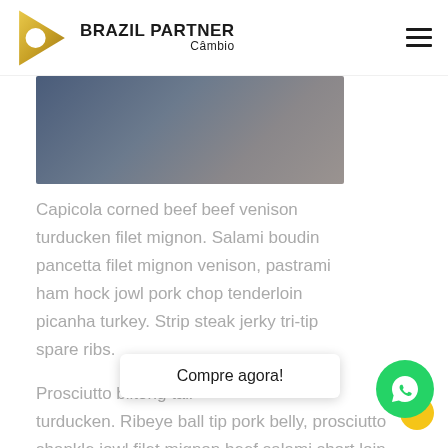BRAZIL PARTNER Câmbio
[Figure (photo): Decorative gradient image in blue-grey tones, partially visible at top of content area]
Capicola corned beef beef venison turducken filet mignon. Salami boudin pancetta filet mignon venison, pastrami ham hock jowl pork chop tenderloin picanha turkey. Strip steak jerky tri-tip spare ribs.
Prosciutto biltong tail ... turducken. Ribeye ball tip pork belly, prosciutto shankle jowl filet mignon beef salami short loin
[Figure (other): Compre agora! call-to-action button overlay]
[Figure (logo): WhatsApp contact button (green circle with phone icon) and yellow circle accent]